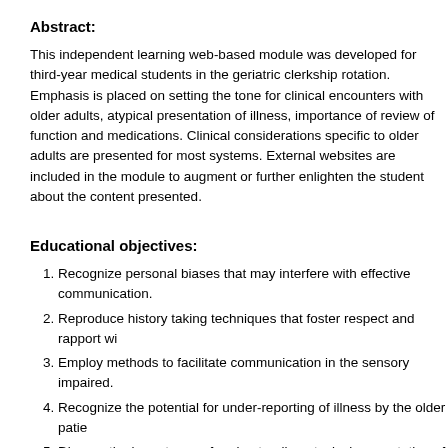Abstract:
This independent learning web-based module was developed for third-year medical students in the geriatric clerkship rotation. Emphasis is placed on setting the tone for clinical encounters with older adults, atypical presentation of illness, importance of review of function and medications. Clinical considerations specific to older adults are presented for most systems. External websites are included in the module to augment or further enlighten the student about the content presented.
Educational objectives:
Recognize personal biases that may interfere with effective communication.
Reproduce history taking techniques that foster respect and rapport wi...
Employ methods to facilitate communication in the sensory impaired.
Recognize the potential for under-reporting of illness by the older patie...
Discuss the importance of understanding atypical presentation of illnes...
Explain the particular concerns regarding accurate history about medic...
Describe the potential impact on health status and quality of life in the ... decline.
Recall at least one age-related finding for each organ system.
Restate clinical considerations for common physiologic changes in old...